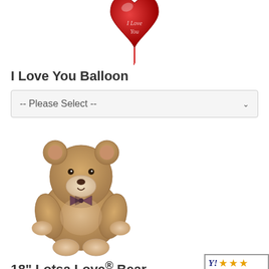[Figure (photo): Red heart-shaped 'I Love You' foil balloon, partially cropped at top]
I Love You Balloon
[Figure (other): Dropdown selector: -- Please Select --]
[Figure (photo): Tan/beige teddy bear with checkered bow tie, Lotsa Love Bear]
18" Lotsa Love® Bear
[Figure (logo): The Flower Shop badge with yellow stars rating]
[Figure (other): Dropdown selector: -- Please Select --]